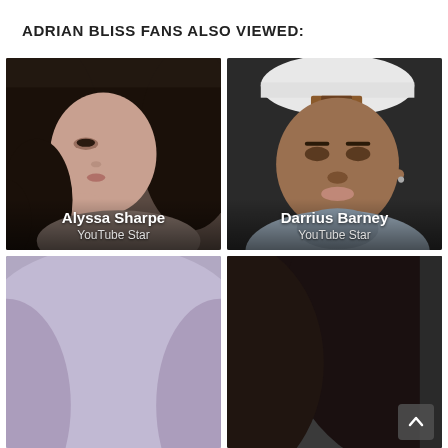ADRIAN BLISS FANS ALSO VIEWED:
[Figure (photo): Portrait photo of Alyssa Sharpe, a young woman with long dark hair, looking sideways, hand near chin]
[Figure (photo): Portrait photo of Darrius Barney, a young man wearing a white baseball cap and grey hoodie]
[Figure (photo): Partial portrait photo, top of person's head with light hair, partially visible]
[Figure (photo): Partial portrait photo, dark-haired person, partially visible, with a scroll-to-top button overlay]